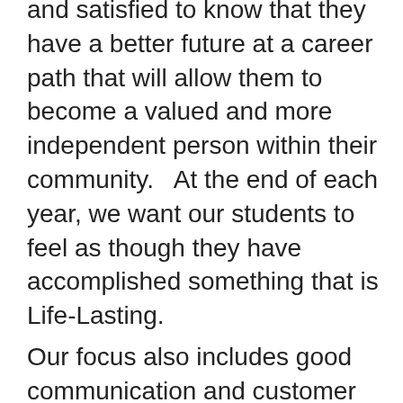and satisfied to know that they have a better future at a career path that will allow them to become a valued and more independent person within their community.   At the end of each year, we want our students to feel as though they have accomplished something that is Life-Lasting.
Our focus also includes good communication and customer service skills which will be necessary for any job seeker.  Students must be willing and able to extend themselves in a variety of areas on a job, running their own business and in